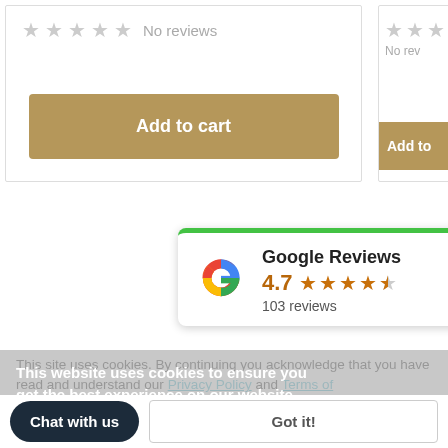[Figure (screenshot): Product listing card (left): 5 empty grey star rating with 'No reviews' text and a tan/gold 'Add to cart' button below]
[Figure (screenshot): Product listing card (right, partially cropped): 5 empty grey star rating with 'No rev...' text and a partially visible tan/gold 'Add to' button]
[Figure (other): Google Reviews widget showing Google 'G' logo, title 'Google Reviews', rating 4.7, 4.5 orange stars, and '103 reviews', with green top border]
This website uses cookies to ensure you get the best experience on our website.
Learn More
This site uses cookies. By continuing you acknowledge that you have read and understand our Privacy Policy and Terms of Service
Chat with us
Got it!